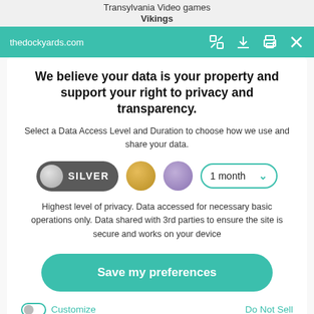Transylvania Video games Vikings
thedockyards.com
We believe your data is your property and support your right to privacy and transparency.
Select a Data Access Level and Duration to choose how we use and share your data.
[Figure (other): Privacy level selector showing Silver toggle switch (active/dark), gold circle, purple circle, and a '1 month' dropdown selector with teal border]
Highest level of privacy. Data accessed for necessary basic operations only. Data shared with 3rd parties to ensure the site is secure and works on your device
[Figure (other): Teal rounded rectangle 'Save my preferences' button]
Customize
Do Not Sell